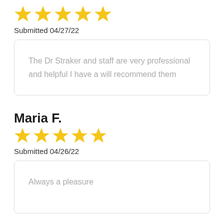[Figure (other): Five yellow star rating icons]
Submitted 04/27/22
The Dr Straker and staff are very professional and helpful I have a will recommend them
Maria F.
[Figure (other): Five yellow star rating icons]
Submitted 04/26/22
Always a pleasure